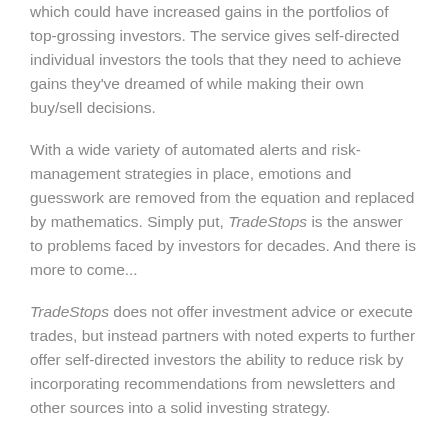which could have increased gains in the portfolios of top-grossing investors. The service gives self-directed individual investors the tools that they need to achieve gains they've dreamed of while making their own buy/sell decisions.
With a wide variety of automated alerts and risk-management strategies in place, emotions and guesswork are removed from the equation and replaced by mathematics. Simply put, TradeStops is the answer to problems faced by investors for decades. And there is more to come...
TradeStops does not offer investment advice or execute trades, but instead partners with noted experts to further offer self-directed investors the ability to reduce risk by incorporating recommendations from newsletters and other sources into a solid investing strategy.